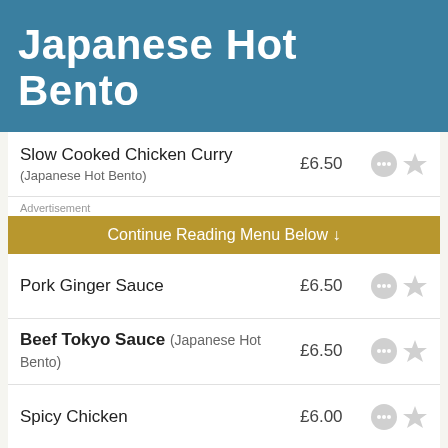Japanese Hot Bento
Slow Cooked Chicken Curry (Japanese Hot Bento) £6.50
Advertisement
Continue Reading Menu Below ↓
Pork Ginger Sauce £6.50
Beef Tokyo Sauce (Japanese Hot Bento) £6.50
Spicy Chicken £6.00
Chicken Teriyaki £6.00
Sweet Chilli Chicken £6.00
Tofu Curry £6.00